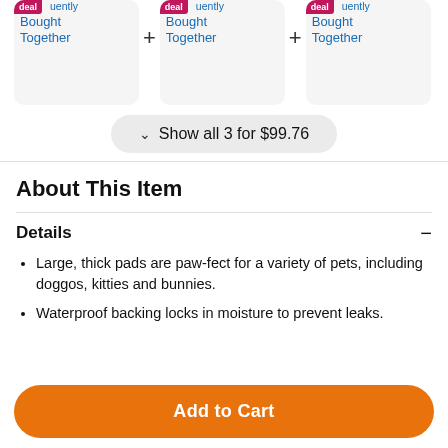[Figure (screenshot): Three product cards with 'deal' badge and 'Frequently Bought Together' text in blue, separated by plus signs]
Show all 3 for $99.76
About This Item
Details
Large, thick pads are paw-fect for a variety of pets, including doggos, kitties and bunnies.
Waterproof backing locks in moisture to prevent leaks.
Add to Cart